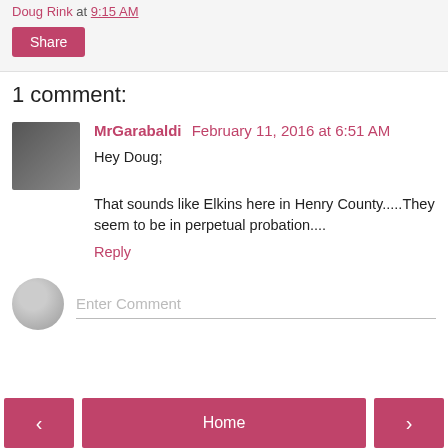Doug Rink at 9:15 AM
Share
1 comment:
MrGarabaldi February 11, 2016 at 6:51 AM
Hey Doug;
That sounds like Elkins here in Henry County.....They seem to be in perpetual probation....
Reply
Enter Comment
< Home >